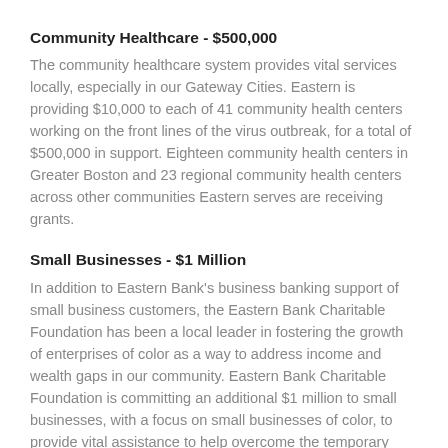Community Healthcare - $500,000
The community healthcare system provides vital services locally, especially in our Gateway Cities. Eastern is providing $10,000 to each of 41 community health centers working on the front lines of the virus outbreak, for a total of $500,000 in support. Eighteen community health centers in Greater Boston and 23 regional community health centers across other communities Eastern serves are receiving grants.
Small Businesses - $1 Million
In addition to Eastern Bank's business banking support of small business customers, the Eastern Bank Charitable Foundation has been a local leader in fostering the growth of enterprises of color as a way to address income and wealth gaps in our community. Eastern Bank Charitable Foundation is committing an additional $1 million to small businesses, with a focus on small businesses of color, to provide vital assistance to help overcome the temporary loss in revenue they are experiencing. The first donation of $250,000 will be provided to